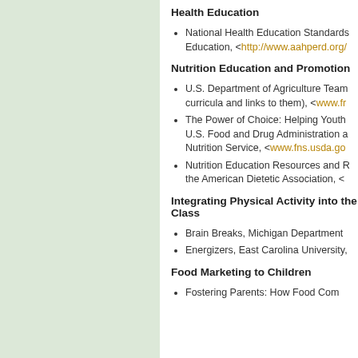Health Education
National Health Education Standards... Education, <http://www.aahperd.org/...
Nutrition Education and Promotion
U.S. Department of Agriculture Team... curricula and links to them), <www.fr...
The Power of Choice: Helping Youth... U.S. Food and Drug Administration a... Nutrition Service, <www.fns.usda.go...
Nutrition Education Resources and R... the American Dietetic Association, <...
Integrating Physical Activity into the Class...
Brain Breaks, Michigan Department...
Energizers, East Carolina University,...
Food Marketing to Children
Fostering Parents: How Food Com...